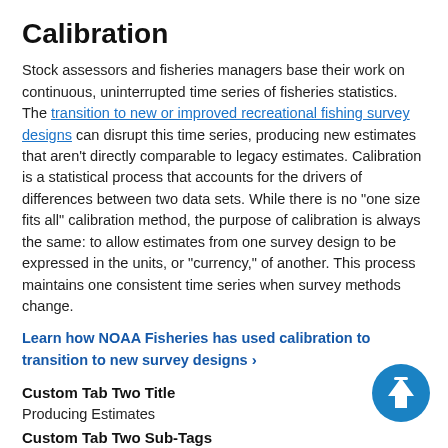Calibration
Stock assessors and fisheries managers base their work on continuous, uninterrupted time series of fisheries statistics. The transition to new or improved recreational fishing survey designs can disrupt this time series, producing new estimates that aren't directly comparable to legacy estimates. Calibration is a statistical process that accounts for the drivers of differences between two data sets. While there is no "one size fits all" calibration method, the purpose of calibration is always the same: to allow estimates from one survey design to be expressed in the units, or "currency," of another. This process maintains one consistent time series when survey methods change.
Learn how NOAA Fisheries has used calibration to transition to new survey designs ›
Custom Tab Two Title
Producing Estimates
Custom Tab Two Sub-Tags